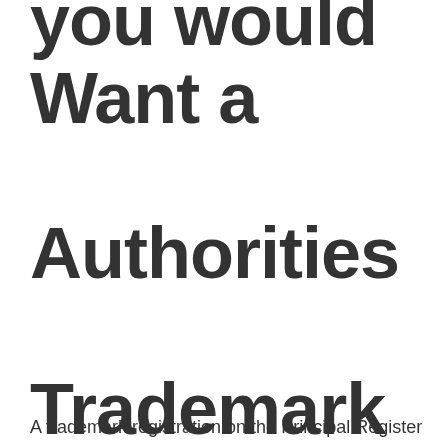you would Want a Authorities Trademark Registration
A trademark registration on the Principal Register